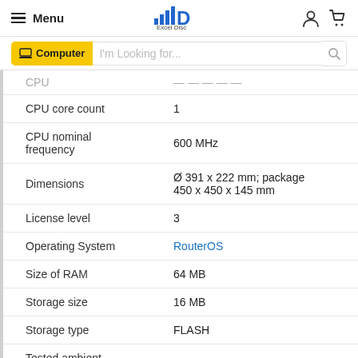Menu  Excel Disc  [user icon] [cart icon]
Computer  I'm Looking for...
| Specification | Value |
| --- | --- |
| CPU | (partially visible) |
| CPU core count | 1 |
| CPU nominal frequency | 600 MHz |
| Dimensions | Ø 391 x 222 mm; package 450 x 450 x 145 mm |
| License level | 3 |
| Operating System | RouterOS |
| Size of RAM | 64 MB |
| Storage size | 16 MB |
| Storage type | FLASH |
| Tested ambient temperature | -40°C to 70°C |